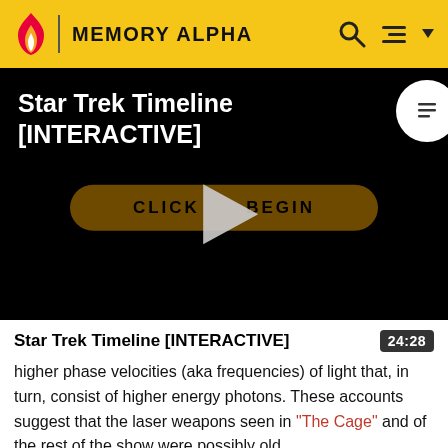MEMORY ALPHA
[Figure (screenshot): Video thumbnail with black background showing 'Star Trek Timeline [INTERACTIVE]' title in white text, a gold pill-shaped button reading 'CLICK TO BEGIN', and a large play triangle overlay in the center. A white circle button with a list icon appears in the top right corner.]
Star Trek Timeline [INTERACTIVE]
higher phase velocities (aka frequencies) of light that, in turn, consist of higher energy photons. These accounts suggest that the laser weapons seen in "The Cage" and of the rest of the show were possibly old...